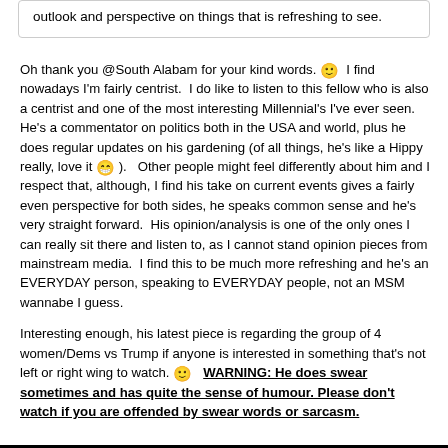outlook and perspective on things that is refreshing to see.
Oh thank you @South Alabam for your kind words. 🙂 I find nowadays I'm fairly centrist. I do like to listen to this fellow who is also a centrist and one of the most interesting Millennial's I've ever seen. He's a commentator on politics both in the USA and world, plus he does regular updates on his gardening (of all things, he's like a Hippy really, love it 😁 ). Other people might feel differently about him and I respect that, although, I find his take on current events gives a fairly even perspective for both sides, he speaks common sense and he's very straight forward. His opinion/analysis is one of the only ones I can really sit there and listen to, as I cannot stand opinion pieces from mainstream media. I find this to be much more refreshing and he's an EVERYDAY person, speaking to EVERYDAY people, not an MSM wannabe I guess.
Interesting enough, his latest piece is regarding the group of 4 women/Dems vs Trump if anyone is interested in something that's not left or right wing to watch. 🙂 WARNING: He does swear sometimes and has quite the sense of humour. Please don't watch if you are offended by swear words or sarcasm.